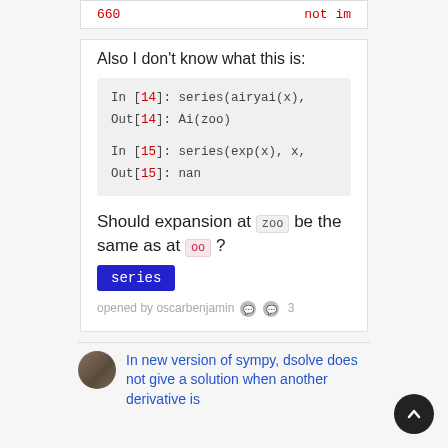| 660 | not im |
Also I don't know what this is:
[Figure (screenshot): Code block showing: In [14]: series(airyai(x), ... / Out[14]: Ai(zoo) / In [15]: series(exp(x), x, ... / Out[15]: nan]
Should expansion at zoo be the same as at oo ?
series
opened by oscarbenjamin 💬 3
In new version of sympy, dsolve does not give a solution when another derivative is ...